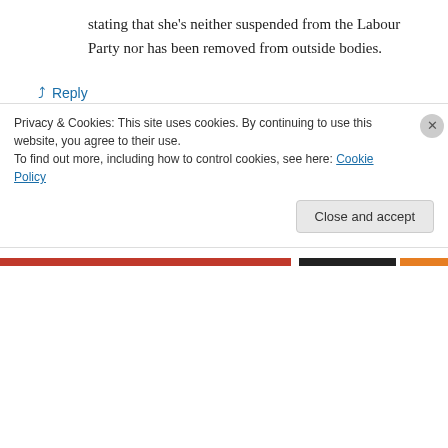stating that she's neither suspended from the Labour Party nor has been removed from outside bodies.
↳ Reply
wirralleaks on November 6, 2017 at 8:18 am
Well spotted John.
Let's see how long the page stays that way.
Keep us posted.
Privacy & Cookies: This site uses cookies. By continuing to use this website, you agree to their use.
To find out more, including how to control cookies, see here: Cookie Policy